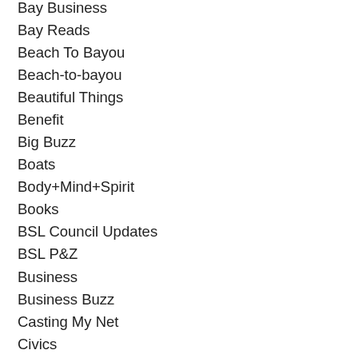Bay Business
Bay Reads
Beach To Bayou
Beach-to-bayou
Beautiful Things
Benefit
Big Buzz
Boats
Body+Mind+Spirit
Books
BSL Council Updates
BSL P&Z
Business
Business Buzz
Casting My Net
Civics
Coast Cuisine
Coast Lines Column
Day Tripping
Design
DIY